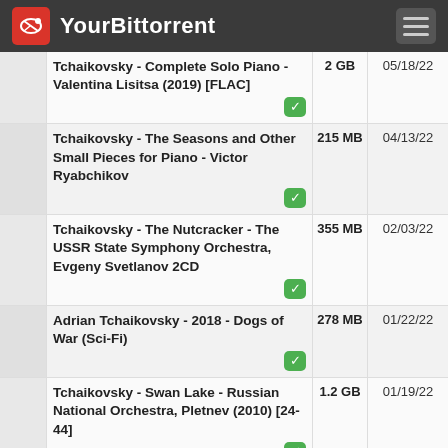YourBittorrent
|  | Title | Size | Date |
| --- | --- | --- | --- |
|  | Tchaikovsky - Complete Solo Piano - Valentina Lisitsa (2019) [FLAC] | 2 GB | 05/18/22 |
|  | Tchaikovsky - The Seasons and Other Small Pieces for Piano - Victor Ryabchikov | 215 MB | 04/13/22 |
|  | Tchaikovsky - The Nutcracker - The USSR State Symphony Orchestra, Evgeny Svetlanov 2CD | 355 MB | 02/03/22 |
|  | Adrian Tchaikovsky - 2018 - Dogs of War (Sci-Fi) | 278 MB | 01/22/22 |
|  | Tchaikovsky - Swan Lake - Russian National Orchestra, Pletnev (2010) [24-44] | 1.2 GB | 01/19/22 |
|  | Wilhelm Furtwangler - The Complete Tchaikovsky (1951) [FLAC] | 363 MB | 01/10/22 |
|  | In Classical Mood - Gypsy Themes - Works of Verdi, Brahms, De Falla, Ravel, Dvorak, Tch ... | 302 MB | 04/19/21 |
|  | Tchaikovsky, Adrian - Herederos del tiempo [45789] (r1.5) | 1 MB | 09/28/20 |
|  | Stravinsky Rite Spring, Tchaikovsky Nutcracker | 2.9 | 02/10/20 |